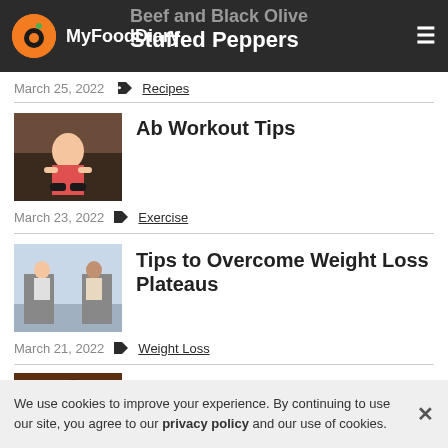MyFoodDiary — Beef and Black Olive Stuffed Peppers
March 25, 2022   Recipes
[Figure (photo): Woman doing ab workout exercises on a gym floor]
Ab Workout Tips
March 23, 2022   Exercise
[Figure (photo): Two women running on treadmills in a gym]
Tips to Overcome Weight Loss Plateaus
March 21, 2022   Weight Loss
[Figure (photo): Almond Cherry Steel-cut oats dish]
Almond Cherry Steel-cut...
We use cookies to improve your experience. By continuing to use our site, you agree to our privacy policy and our use of cookies.